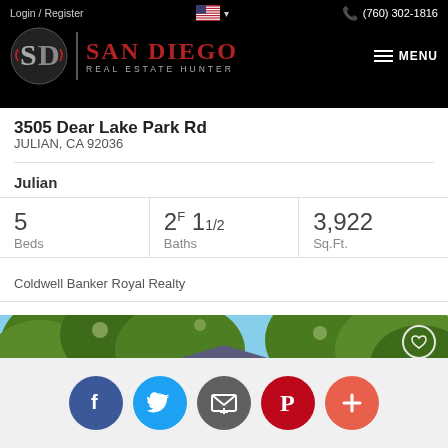Login / Register   (760) 302-1816
[Figure (logo): San Diego Real Estate Hunter logo with SD monogram and red text on black background]
3505 Dear Lake Park Rd
JULIAN, CA 92036
Julian
| Beds | Baths | Sq.Ft. |
| --- | --- | --- |
| 5 | 2F 1 1/2 | 3,922 |
Coldwell Banker Royal Realty
[Figure (photo): Exterior photo of property with trees in foreground and blue sky]
[Figure (infographic): Social sharing buttons: Facebook, Twitter, Email, Pinterest, More]